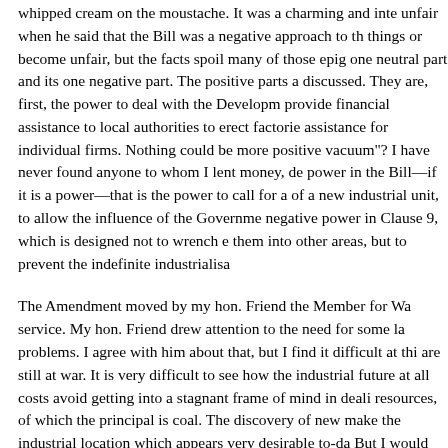whipped cream on the moustache. It was a charming and inte unfair when he said that the Bill was a negative approach to th things or become unfair, but the facts spoil many of those epig one neutral part and its one negative part. The positive parts a discussed. They are, first, the power to deal with the Developm provide financial assistance to local authorities to erect factorie assistance for individual firms. Nothing could be more positive vacuum"? I have never found anyone to whom I lent money, de power in the Bill—if it is a power—that is the power to call for a of a new industrial unit, to allow the influence of the Governme negative power in Clause 9, which is designed not to wrench e them into other areas, but to prevent the indefinite industrialisa
The Amendment moved by my hon. Friend the Member for Wa service. My hon. Friend drew attention to the need for some la problems. I agree with him about that, but I find it difficult at thi are still at war. It is very difficult to see how the industrial future at all costs avoid getting into a stagnant frame of mind in deali resources, of which the principal is coal. The discovery of new make the industrial location which appears very desirable to-da But I would suggest to those hon. Members who moved and s